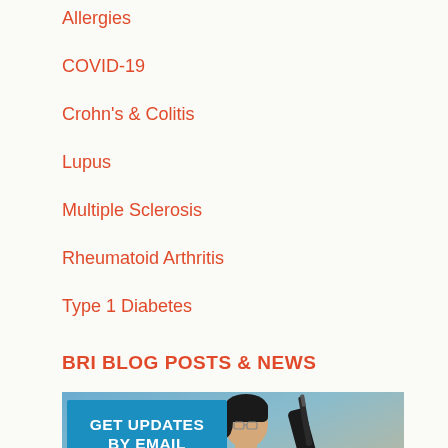Allergies
COVID-19
Crohn's & Colitis
Lupus
Multiple Sclerosis
Rheumatoid Arthritis
Type 1 Diabetes
BRI BLOG POSTS & NEWS
[Figure (photo): A female scientist in a white lab coat and black gloves using a pipette in a laboratory setting, with a blue 'GET UPDATES BY EMAIL' call-to-action overlay box on the left side of the image.]